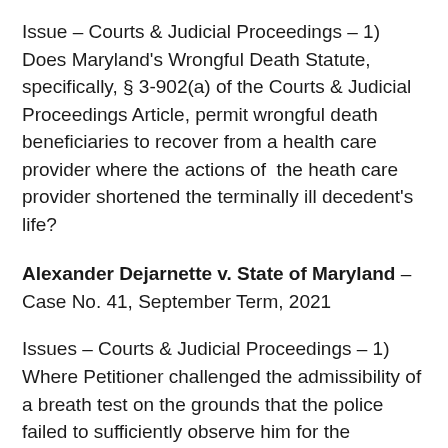Issue – Courts & Judicial Proceedings – 1) Does Maryland's Wrongful Death Statute, specifically, § 3-902(a) of the Courts & Judicial Proceedings Article, permit wrongful death beneficiaries to recover from a health care provider where the actions of the heath care provider shortened the terminally ill decedent's life?
Alexander Dejarnette v. State of Maryland – Case No. 41, September Term, 2021
Issues – Courts & Judicial Proceedings – 1) Where Petitioner challenged the admissibility of a breath test on the grounds that the police failed to sufficiently observe him for the requisite period preceding the test, does the failure to comply with the observation period go